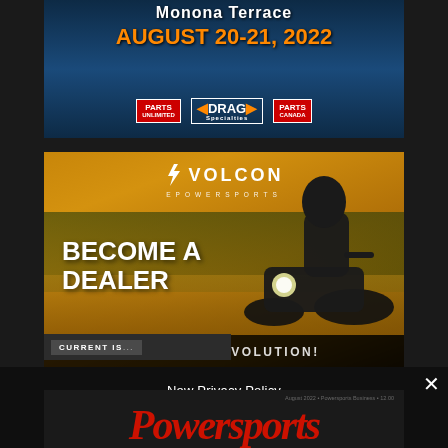[Figure (illustration): Top advertisement banner for Monona Terrace event, August 20-21 2022, featuring Parts Unlimited, Drag Specialties, and Parts Canada logos against a blue water background]
[Figure (illustration): Volcon ePowersports advertisement showing a rider on an electric motorcycle at sunset with text 'BECOME A DEALER' and 'JOIN THE REVOLUTION!']
New Privacy Policy
Privacy Preferences
I Agree
CURRENT ISSUE
[Figure (logo): PowerSports Business magazine logo in red italic text at bottom]